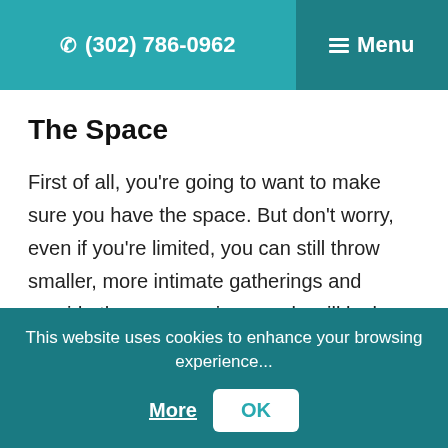☎ (302) 786-0962  ≡ Menu
The Space
First of all, you're going to want to make sure you have the space. But don't worry, even if you're limited, you can still throw smaller, more intimate gatherings and provide those memories people will look back on fondly for years to come.
This website uses cookies to enhance your browsing experience... More OK